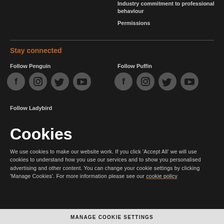Industry commitment to professional behaviour
Permissions
Stay connected
Follow Penguin
[Figure (illustration): Four social media icon circles for Penguin: Facebook, Instagram, Twitter, YouTube]
Follow Puffin
[Figure (illustration): Four social media icon circles for Puffin: Facebook, Instagram, Twitter, YouTube]
Follow Ladybird
Cookies
We use cookies to make our website work. If you click 'Accept All' we will use cookies to understand how you use our services and to show you personalised advertising and other content. You can change your cookie settings by clicking 'Manage Cookies'. For more information please see our cookie policy
MANAGE COOKIE SETTINGS